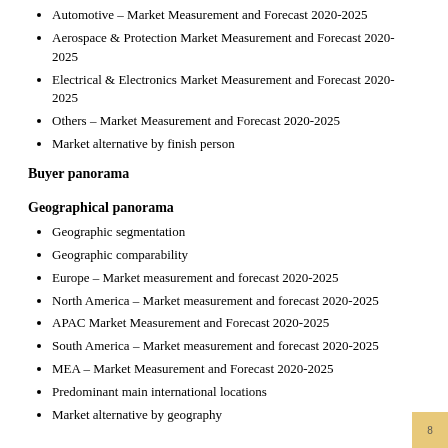Automotive – Market Measurement and Forecast 2020-2025
Aerospace & Protection Market Measurement and Forecast 2020-2025
Electrical & Electronics Market Measurement and Forecast 2020-2025
Others – Market Measurement and Forecast 2020-2025
Market alternative by finish person
Buyer panorama
Geographical panorama
Geographic segmentation
Geographic comparability
Europe – Market measurement and forecast 2020-2025
North America – Market measurement and forecast 2020-2025
APAC Market Measurement and Forecast 2020-2025
South America – Market measurement and forecast 2020-2025
MEA – Market Measurement and Forecast 2020-2025
Predominant main international locations
Market alternative by geography